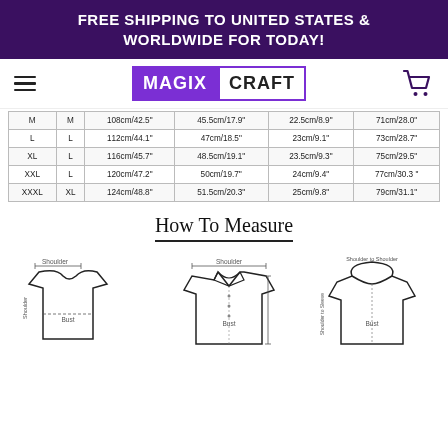FREE SHIPPING TO UNITED STATES & WORLDWIDE FOR TODAY!
[Figure (logo): MagixCraft logo with hamburger menu and cart icon]
| M | M | 108cm/42.5" | 45.5cm/17.9" | 22.5cm/8.9" | 71cm/28.0" |
| L | L | 112cm/44.1" | 47cm/18.5" | 23cm/9.1" | 73cm/28.7" |
| XL | L | 116cm/45.7" | 48.5cm/19.1" | 23.5cm/9.3" | 75cm/29.5" |
| XXL | L | 120cm/47.2" | 50cm/19.7" | 24cm/9.4" | 77cm/30.3" |
| XXXL | XL | 124cm/48.8" | 51.5cm/20.3" | 25cm/9.8" | 79cm/31.1" |
How To Measure
[Figure (illustration): Three garment measurement diagrams: t-shirt showing Shoulder, Bust, and Shoulder-to-Shoulder measurements; dress shirt showing Shoulder and Bust measurements; hoodie showing Shoulder-to-Shoulder and Bust measurements]